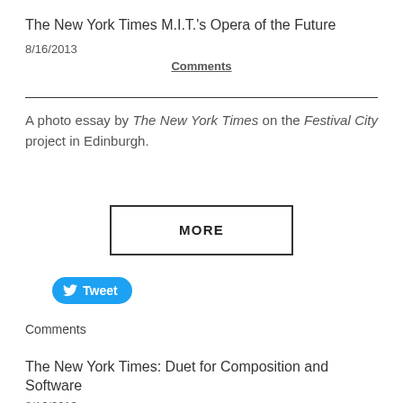The New York Times M.I.T.'s Opera of the Future
8/16/2013
Comments
A photo essay by The New York Times on the Festival City project in Edinburgh.
MORE
[Figure (other): Tweet button with Twitter bird icon]
Comments
The New York Times: Duet for Composition and Software
8/16/2013